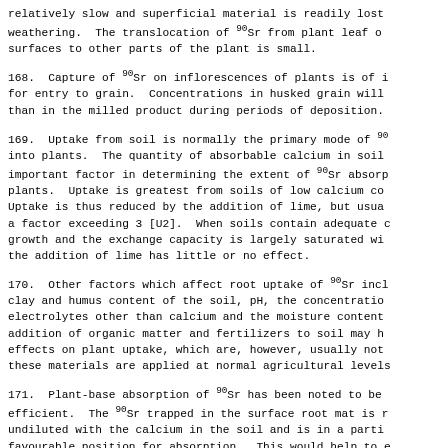relatively slow and superficial material is readily lost by weathering. The translocation of 90Sr from plant leaf or surfaces to other parts of the plant is small.
168. Capture of 90Sr on inflorescences of plants is of importance for entry to grain. Concentrations in husked grain will be higher than in the milled product during periods of deposition.
169. Uptake from soil is normally the primary mode of 90Sr entry into plants. The quantity of absorbable calcium in soil is an important factor in determining the extent of 90Sr absorption by plants. Uptake is greatest from soils of low calcium content. Uptake is thus reduced by the addition of lime, but usually not by a factor exceeding 3 [U2]. When soils contain adequate calcium for growth and the exchange capacity is largely saturated with calcium, the addition of lime has little or no effect.
170. Other factors which affect root uptake of 90Sr include the clay and humus content of the soil, pH, the concentration of electrolytes other than calcium and the moisture content of soil. The addition of organic matter and fertilizers to soil may have various effects on plant uptake, which are, however, usually not great when these materials are applied at normal agricultural levels.
171. Plant-base absorption of 90Sr has been noted to be particularly efficient. The 90Sr trapped in the surface root mat is relatively undiluted with the calcium in the soil and is in a particularly favourable position for absorption. This would help to explain